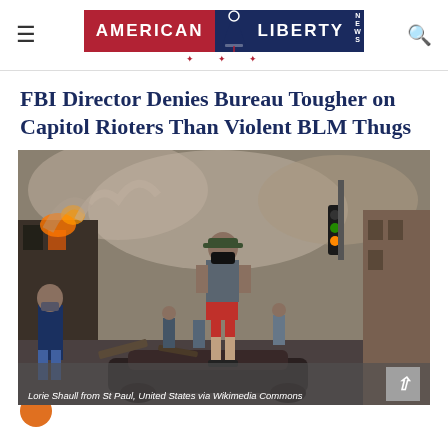AMERICAN LIBERTY NEWS
FBI Director Denies Bureau Tougher on Capitol Rioters Than Violent BLM Thugs
[Figure (photo): A person wearing a face mask and red shorts stands on top of a burned-out car in a smoke-filled street with debris and damaged buildings. Other people are visible in the background amid the destruction.]
Lorie Shaull from St Paul, United States via Wikimedia Commons